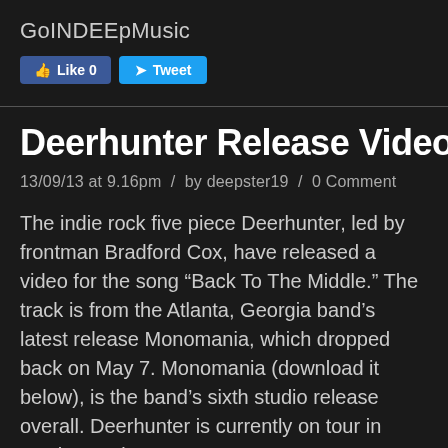GoINDEEpMusic
Deerhunter Release Video “Back To The
13/09/13 at 9.16pm  /  by deepster19  /  0 Comment
The indie rock five piece Deerhunter, led by frontman Bradford Cox, have released a video for the song “Back To The Middle.” The track is from the Atlanta, Georgia band’s latest release Monomania, which dropped back on May 7. Monomania (download it below), is the band’s sixth studio release overall. Deerhunter is currently on tour in North America.
Check out the video for “Back To The Middle”